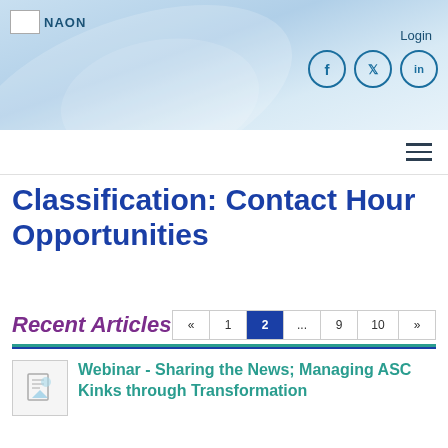NAON
Login
Classification: Contact Hour Opportunities
Recent Articles
« 1 2 ... 9 10 »
Webinar - Sharing the News; Managing ASC Kinks through Transformation